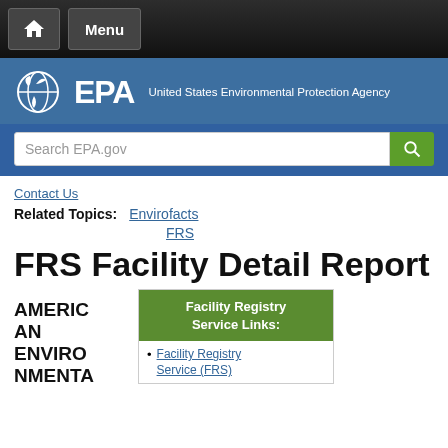Home | Menu
[Figure (logo): EPA logo with plant/globe icon and text 'EPA', United States Environmental Protection Agency]
Search EPA.gov
Contact Us
Related Topics: Envirofacts
FRS
FRS Facility Detail Report
AMERICAN ENVIRONMENTAL
NMENTA
Facility Registry Service Links:
Facility Registry Service (FRS)